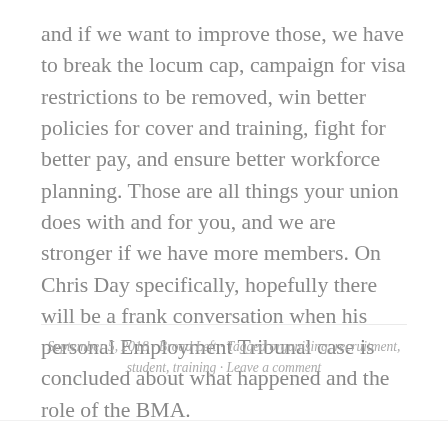and if we want to improve those, we have to break the locum cap, campaign for visa restrictions to be removed, win better policies for cover and training, fight for better pay, and ensure better workforce planning. Those are all things your union does with and for you, and we are stronger if we have more members. On Chris Day specifically, hopefully there will be a frank conversation when his personal Employment Tribunal case is concluded about what happened and the role of the BMA.
September 5, 2018 · Broad Left · Tagged organising, recruitment, student, training · Leave a comment